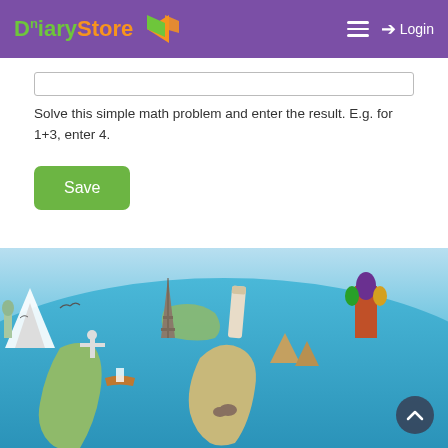Diary Store — Login
Solve this simple math problem and enter the result. E.g. for 1+3, enter 4.
Save
[Figure (illustration): World map illustration with famous landmarks (Eiffel Tower, Leaning Tower of Pisa, St. Basil's Cathedral, Pyramids, Christ the Redeemer, Statue of Liberty, etc.) overlaid on a 3D globe/map with blue oceans and continents, boats and animals visible.]